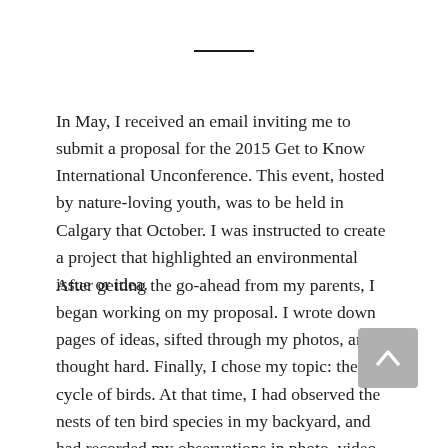In May, I received an email inviting me to submit a proposal for the 2015 Get to Know International Unconference. This event, hosted by nature-loving youth, was to be held in Calgary that October. I was instructed to create a project that highlighted an environmental issue or idea.
After getting the go-ahead from my parents, I began working on my proposal. I wrote down pages of ideas, sifted through my photos, and thought hard. Finally, I chose my topic: the life cycle of birds. At that time, I had observed the nests of ten bird species in my backyard, and had recorded my observations in photo, video,